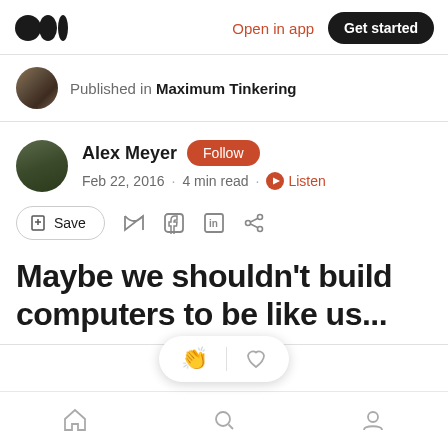Open in app  Get started
Published in Maximum Tinkering
Alex Meyer  Follow
Feb 22, 2016 · 4 min read · Listen
Save
Maybe we shouldn't build computers to be like us...
Home  Search  Profile